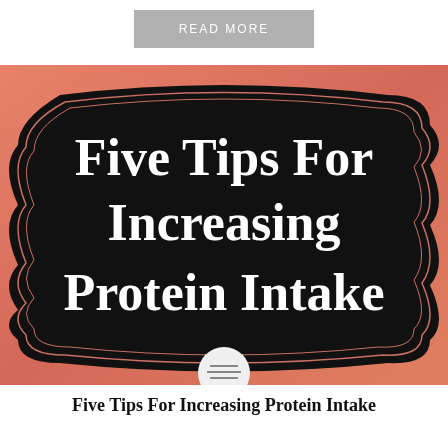READ MORE
[Figure (infographic): Decorative black plaque/chalkboard with curved ornamental frame on a salmon/coral gradient background, containing the text 'Five Tips For Increasing Protein Intake' in large white serif font. A small circular icon appears at the bottom center of the image.]
Five Tips For Increasing Protein Intake